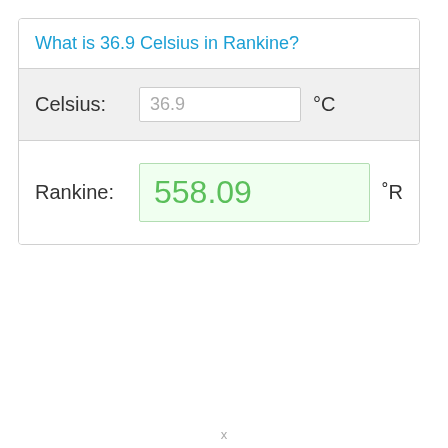What is 36.9 Celsius in Rankine?
Celsius: 36.9 °C
Rankine: 558.09 °R
Calculate